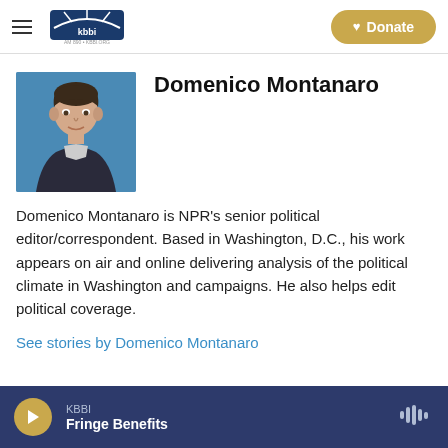KBBI AM 890 | KBBI.ORG Homer Alaska – Donate
[Figure (photo): Headshot of Domenico Montanaro, a man in a dark jacket against a blue background]
Domenico Montanaro
Domenico Montanaro is NPR's senior political editor/correspondent. Based in Washington, D.C., his work appears on air and online delivering analysis of the political climate in Washington and campaigns. He also helps edit political coverage.
See stories by Domenico Montanaro
KBBI – Fringe Benefits